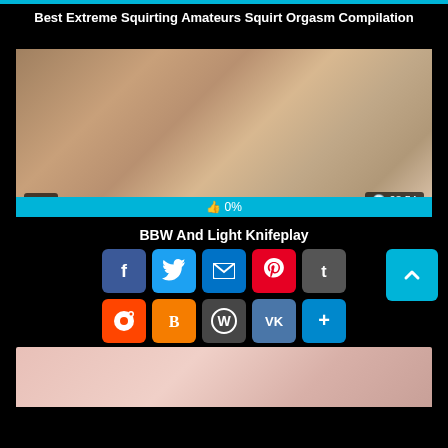Best Extreme Squirting Amateurs Squirt Orgasm Compilation
[Figure (screenshot): Video thumbnail showing adult content with view count '1' and duration '08:54']
👍 0%
BBW And Light Knifeplay
[Figure (infographic): Social share buttons: Facebook, Twitter, Email, Pinterest, Tumblr, Reddit, Blogger, WordPress, VK, More]
[Figure (photo): Bottom video thumbnail, partially visible]